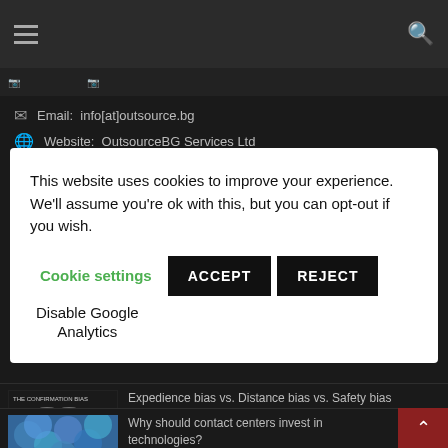Navigation header bar with hamburger menu and search icon
Email: info[at]outsource.bg
Website: OutsourceBG Services Ltd
This website uses cookies to improve your experience. We'll assume you're ok with this, but you can opt-out if you wish. Cookie settings | ACCEPT | REJECT | Disable Google Analytics
Expedience bias vs. Distance bias vs. Safety bias
April 10, 2018
Why should contact centers invest in technologies?
January 15, 2021